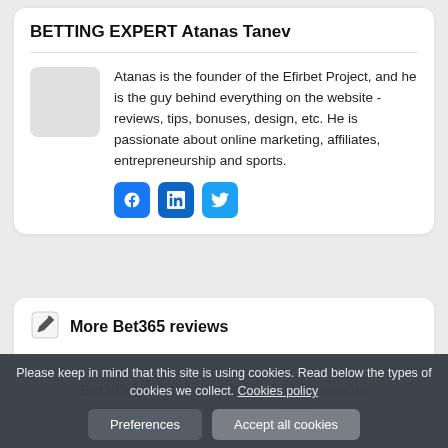BETTING EXPERT Atanas Tanev
Atanas is the founder of the Efirbet Project, and he is the guy behind everything on the website - reviews, tips, bonuses, design, etc. He is passionate about online marketing, affiliates, entrepreneurship and sports.
[Figure (illustration): Social media icons: Facebook, LinkedIn, Twitter]
More Bet365 reviews
Bet365 US Bonus Code - Unlock Awesome Welcome Rewards | 2022
Please keep in mind that this site is using cookies. Read below the types of cookies we collect. Cookies policy
Preferences    Accept all cookies